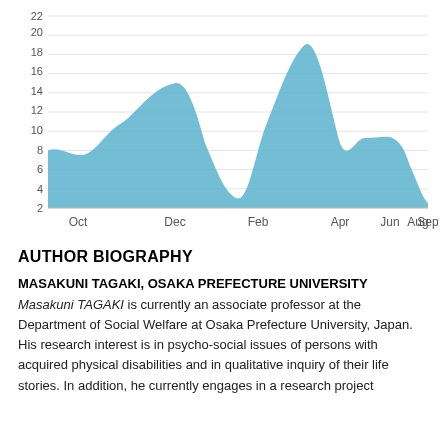[Figure (area-chart): ]
AUTHOR BIOGRAPHY
MASAKUNI TAGAKI, OSAKA PREFECTURE UNIVERSITY
Masakuni TAGAKI is currently an associate professor at the Department of Social Welfare at Osaka Prefecture University, Japan. His research interest is in psycho-social issues of persons with acquired physical disabilities and in qualitative inquiry of their life stories. In addition, he currently engages in a research project